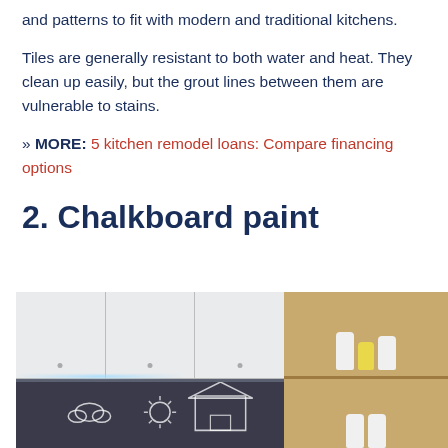and patterns to fit with modern and traditional kitchens.
Tiles are generally resistant to both water and heat. They clean up easily, but the grout lines between them are vulnerable to stains.
» MORE: 5 kitchen remodel loans: Compare financing options
2. Chalkboard paint
[Figure (photo): Kitchen interior showing white cabinet doors above a dark chalkboard-painted backsplash with chalk drawings (cloud, sun, house). An open wooden shelf on the right holds white and yellow jars/containers. LED lighting strip is visible under the upper cabinets.]